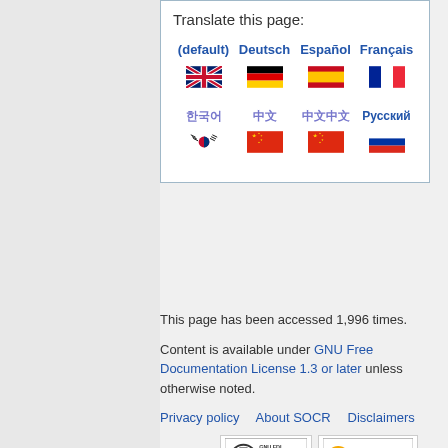Translate this page:
(default)  Deutsch  Español  Français  It...
한국어  中文  中文  Русский  Ne...
This page has been accessed 1,996 times.
Content is available under GNU Free Documentation License 1.3 or later unless otherwise noted.
Privacy policy  About SOCR  Disclaimers
[Figure (logo): GNU FDL Free Doc License badge]
[Figure (logo): Powered by MediaWiki badge]